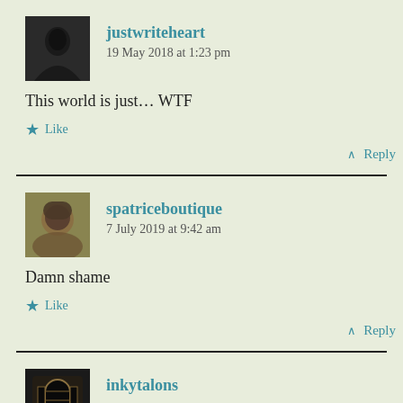justwriteheart
19 May 2018 at 1:23 pm
This world is just... WTF
Like
Reply
spatriceboutique
7 July 2019 at 9:42 am
Damn shame
Like
Reply
inkytalons